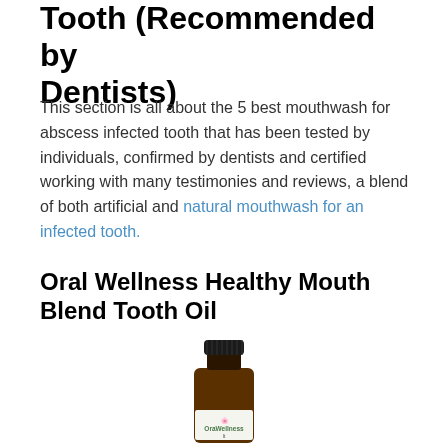Tooth (Recommended by Dentists)
This section is all about the 5 best mouthwash for abscess infected tooth that has been tested by individuals, confirmed by dentists and certified working with many testimonies and reviews, a blend of both artificial and natural mouthwash for an infected tooth.
Oral Wellness Healthy Mouth Blend Tooth Oil
[Figure (photo): A small amber glass bottle of OraWellness Healthy Mouth Blend Tooth Oil with a black dropper cap and white label showing the OraWellness brand name and floral logo.]